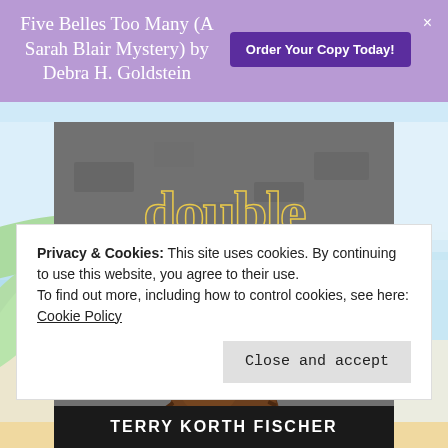Five Belles Too Many (A Sarah Blair Mystery) by Debra H. Goldstein
Order Your Copy Today!
[Figure (photo): Book cover for 'double dipped' by Terry Korth Fischer, showing the text 'double dipped' in gold script over a dark background with a scoop of chocolate ice cream and beach/tropical background with palm leaves]
Privacy & Cookies: This site uses cookies. By continuing to use this website, you agree to their use.
To find out more, including how to control cookies, see here:
Cookie Policy
Close and accept
TERRY KORTH FISCHER